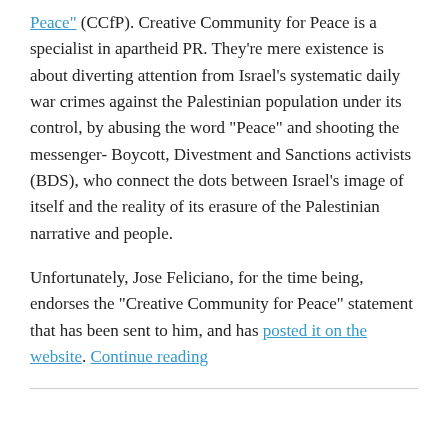Peace" (CCfP). Creative Community for Peace is a specialist in apartheid PR. They’re mere existence is about diverting attention from Israel’s systematic daily war crimes against the Palestinian population under its control, by abusing the word “Peace” and shooting the messenger- Boycott, Divestment and Sanctions activists (BDS), who connect the dots between Israel’s image of itself and the reality of its erasure of the Palestinian narrative and people.

Unfortunately, Jose Feliciano, for the time being, endorses the “Creative Community for Peace” statement that has been sent to him, and has posted it on the website. Continue reading